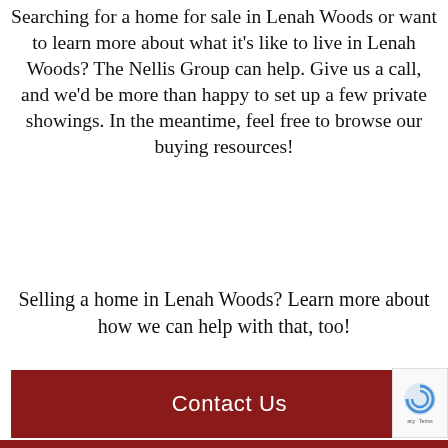Searching for a home for sale in Lenah Woods or want to learn more about what it’s like to live in Lenah Woods? The Nellis Group can help. Give us a call, and we'd be more than happy to set up a few private showings. In the meantime, feel free to browse our buying resources!
Selling a home in Lenah Woods? Learn more about how we can help with that, too!
Contact Us